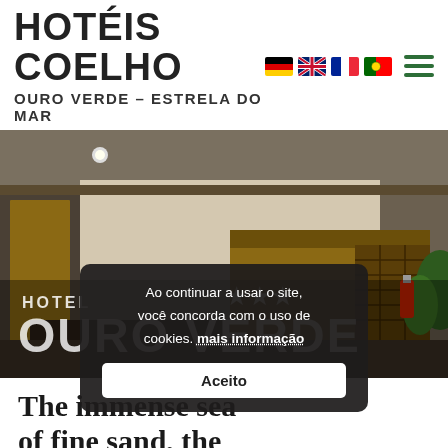HOTÉIS COELHO
OURO VERDE – ESTRELA DO MAR
[Figure (photo): Hotel Ouro Verde interior lobby/reception area photo with text overlay reading HOTEL OURO VERDE and three stars]
Ao continuar a usar o site, você concorda com o uso de cookies. mais informação
Aceito
The immense sea of fine sand, the